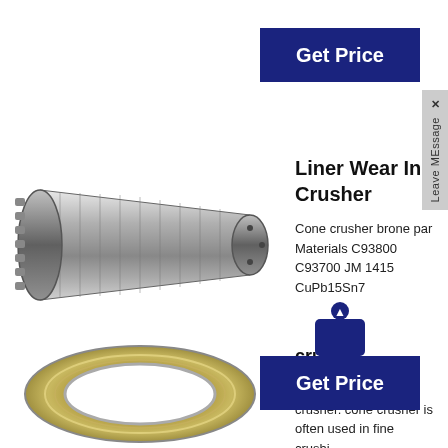[Figure (photo): Blue 'Get Price' button at top right]
[Figure (photo): Sidebar tab with 'x' close button and 'Leave MEssage' text, rotated vertically on right edge]
[Figure (photo): Photo of a metallic threaded cylindrical shaft/liner component for a cone crusher]
Liner Wear In Crusher
Cone crusher brone par Materials C93800 C93700 JM 1415 CuPb15Sn7
[Figure (photo): Blue 'Get Price' button with shopping bag icon, in the middle-right area]
crusher
[Figure (photo): Photo of a metallic ring/gasket component for a cone crusher]
Feb 01, 2012Cone crusher. cone crusher is often used in fine crushi…